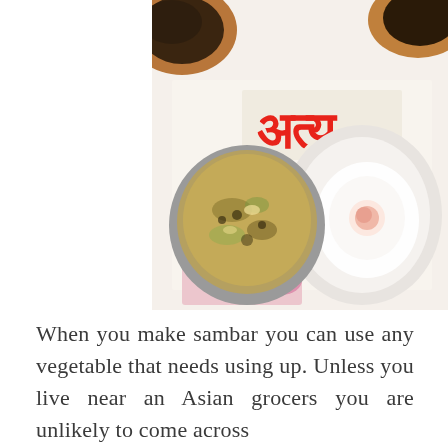[Figure (photo): Overhead view of an Indian meal spread: a metal bowl of dal/vegetable curry (sambar), a fried egg on a white plate, terracotta bowls with dark lentils/rice, all resting on a Gujarati newspaper (Satya Times) with colorful illustrations visible beneath.]
When you make sambar you can use any vegetable that needs using up. Unless you live near an Asian grocers you are unlikely to come across